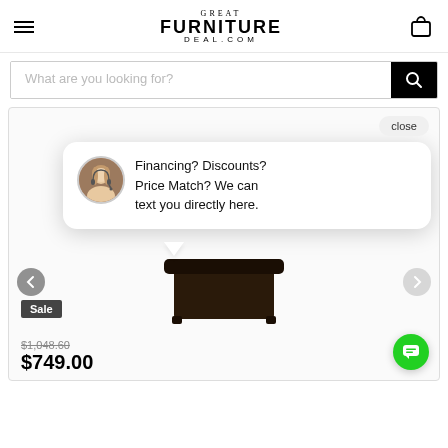[Figure (logo): Great Furniture Deal.com logo with hamburger menu and cart icon in header]
What are you looking for?
[Figure (screenshot): Product page with chat popup overlay. Chat popup says: 'Financing? Discounts? Price Match? We can text you directly here.' with female avatar. Close button visible. Sale badge, original price $1,048.60, sale price $749.00. Navigation arrows on sides. Green chat FAB button.]
Financing? Discounts? Price Match? We can text you directly here.
Sale
$1,048.60
$749.00